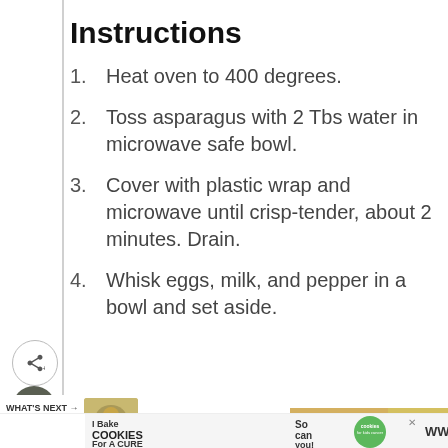Instructions
Heat oven to 400 degrees.
Toss asparagus with 2 Tbs water in microwave safe bowl.
Cover with plastic wrap and microwave until crisp-tender, about 2 minutes. Drain.
Whisk eggs, milk, and pepper in a bowl and set aside.
[Figure (screenshot): Website UI showing heart/favorite button (dark circle with heart icon) and share button (circle with share icon) on left sidebar]
[Figure (photo): What's Next promo showing food images and text 'Everything You Need to...' with a photo of vegetables and a whisk with egg mixture]
[Figure (photo): Advertisement banner: 'I Bake COOKIES For A CURE - Haldora, 11 Cancer Survivor - So can you! cookies for kids cancer' with green circle logo and woman smiling]